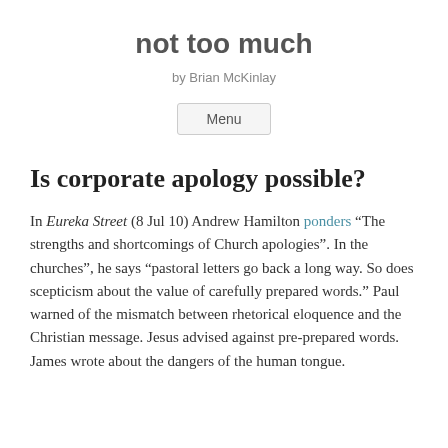not too much
by Brian McKinlay
Menu
Is corporate apology possible?
In Eureka Street (8 Jul 10) Andrew Hamilton ponders “The strengths and shortcomings of Church apologies”. In the churches”, he says “pastoral letters go back a long way. So does scepticism about the value of carefully prepared words.” Paul warned of the mismatch between rhetorical eloquence and the Christian message. Jesus advised against pre-prepared words. James wrote about the dangers of the human tongue.